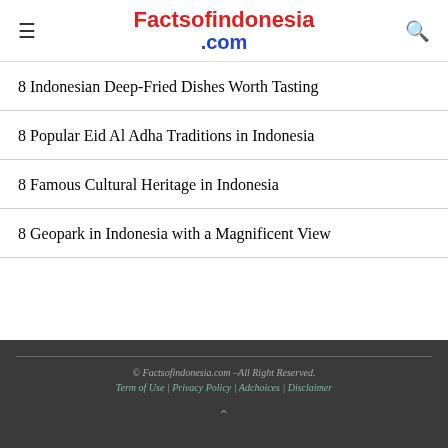Factsofindonesia.com
8 Indonesian Deep-Fried Dishes Worth Tasting
8 Popular Eid Al Adha Traditions in Indonesia
8 Famous Cultural Heritage in Indonesia
8 Geopark in Indonesia with a Magnificent View
© Factsofindonesia.com –All Right Reserved. Term of Use | Privacy Policy | Adchoices | Disclaimer